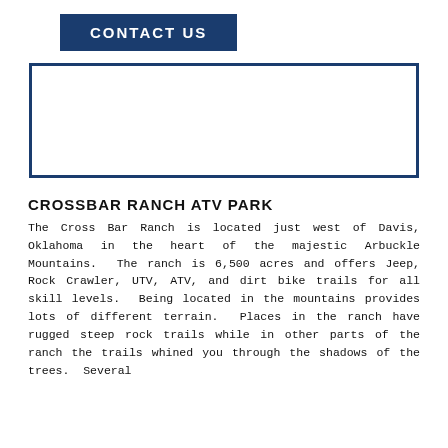CONTACT US
[Figure (other): Empty framed box with dark blue border, likely a map or image placeholder]
CROSSBAR RANCH ATV PARK
The Cross Bar Ranch is located just west of Davis, Oklahoma in the heart of the majestic Arbuckle Mountains. The ranch is 6,500 acres and offers Jeep, Rock Crawler, UTV, ATV, and dirt bike trails for all skill levels. Being located in the mountains provides lots of different terrain. Places in the ranch have rugged steep rock trails while in other parts of the ranch the trails whined you through the shadows of the trees. Several